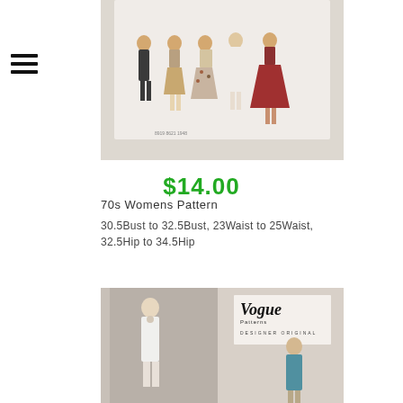[Figure (photo): Product photo of a 70s womens sewing pattern showing multiple fashion figures in skirts and dresses]
$14.00
70s Womens Pattern
30.5Bust to 32.5Bust, 23Waist to 25Waist, 32.5Hip to 34.5Hip
[Figure (photo): Product photo of a Vogue Patterns Designer Original sewing pattern showing two women in formal wear]